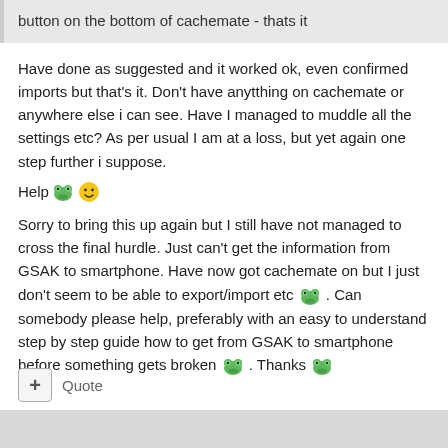button on the bottom of cachemate - thats it
Have done as suggested and it worked ok, even confirmed imports but that's it. Don't have anytthing on cachemate or anywhere else i can see. Have I managed to muddle all the settings etc? As per usual I am at a loss, but yet again one step further i suppose.
Help 🐸😊
Sorry to bring this up again but I still have not managed to cross the final hurdle. Just can't get the information from GSAK to smartphone. Have now got cachemate on but I just don't seem to be able to export/import etc 🐸. Can somebody please help, preferably with an easy to understand step by step guide how to get from GSAK to smartphone before something gets broken 🐸. Thanks 🐸
+ Quote